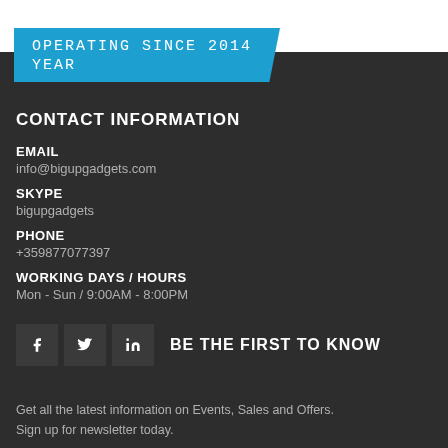[Figure (infographic): Blue banner with text 'OPERATING SINCE 2014 YEAR' on dark background]
CONTACT INFORMATION
EMAIL
info@bigupgadgets.com
SKYPE
bigupgadgets
PHONE
+359877077397
WORKING DAYS / HOURS
Mon - Sun / 9:00AM - 8:00PM
[Figure (infographic): Social media icons for Facebook, Twitter, LinkedIn followed by text 'BE THE FIRST TO KNOW']
Get all the latest information on Events, Sales and Offers.
Sign up for newsletter today.